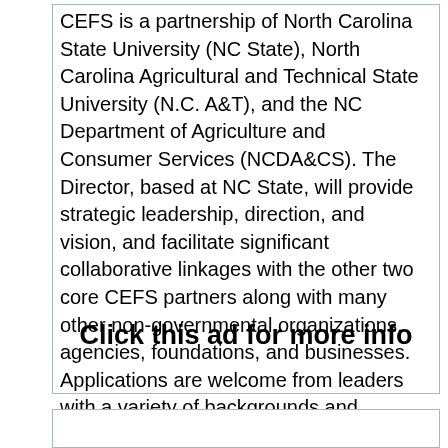CEFS is a partnership of North Carolina State University (NC State), North Carolina Agricultural and Technical State University (N.C. A&T), and the NC Department of Agriculture and Consumer Services (NCDA&CS). The Director, based at NC State, will provide strategic leadership, direction, and vision, and facilitate significant collaborative linkages with the other two core CEFS partners along with many other non-governmental organizations, agencies, foundations, and businesses. Applications are welcome from leaders with a variety of backgrounds and disciplines.
Click this ad for more info